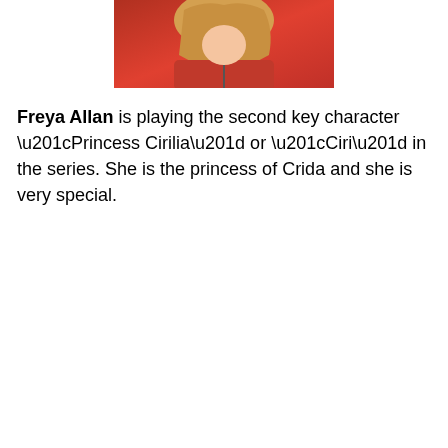[Figure (photo): Photo of Freya Allan, a woman with long blonde hair wearing a red jacket, cropped to show upper body and head partially]
Freya Allan is playing the second key character “Princess Cirilia” or “Ciri” in the series. She is the princess of Crida and she is very special.